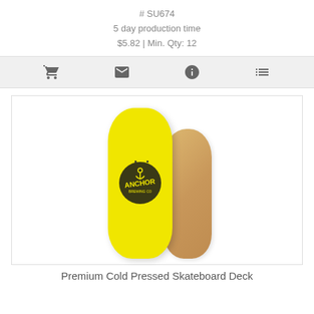# SU674
5 day production time
$5.82 | Min. Qty: 12
[Figure (other): Icon toolbar with cart, envelope, info, and list icons on a gray background]
[Figure (photo): Yellow skateboard deck with Anchor Brewing Co logo printed on it, shown alongside a natural wood unprinted skateboard deck. Premium Cold Pressed Skateboard Deck product photo.]
Premium Cold Pressed Skateboard Deck